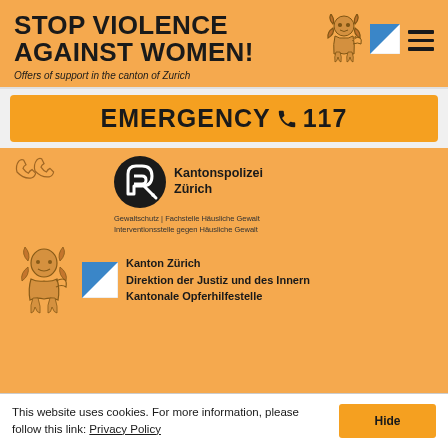STOP VIOLENCE AGAINST WOMEN!
Offers of support in the canton of Zurich
EMERGENCY 117
[Figure (logo): Kantonspolizei Zürich logo with P arrow icon]
Gewaltschutz | Fachstelle Häusliche Gewalt
Interventionsstelle gegen Häusliche Gewalt
[Figure (logo): Kanton Zürich lion and flag logo with text: Kanton Zürich Direktion der Justiz und des Innern Kantonale Opferhilfestelle]
This website uses cookies. For more information, please follow this link: Privacy Policy